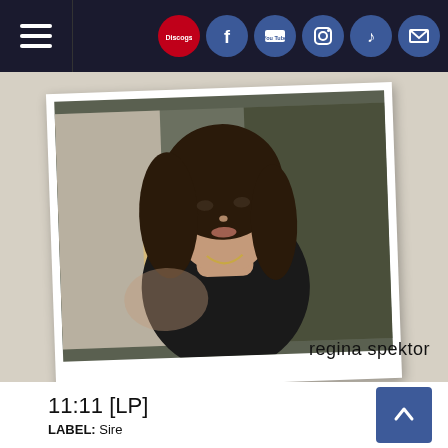Navigation bar with hamburger menu, Discogs, Facebook, YouTube, Instagram, TikTok, and mail icons
[Figure (photo): Polaroid-style photograph of Regina Spektor, a young woman with curly dark hair wearing a black top, against a dark olive/green background. The photo is slightly tilted. Artist name 'regina spektor' is written in the bottom-right corner of the album cover area.]
11:11 [LP]
LABEL: Sire